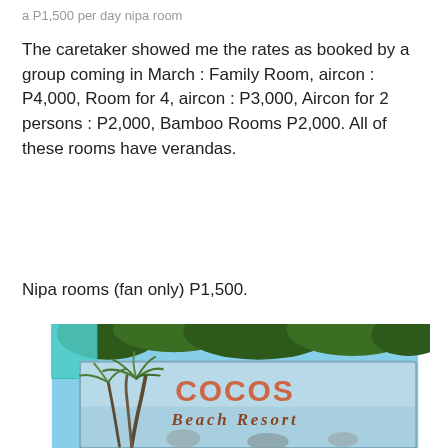a P1,500 per day nipa room
The caretaker showed me the rates as booked by a group coming in March : Family Room, aircon : P4,000, Room for 4, aircon : P3,000, Aircon for 2 persons : P2,000, Bamboo Rooms P2,000. All of these rooms have verandas.
Nipa rooms (fan only) P1,500.
[Figure (photo): Sign for Cocos Beach Resort featuring painted palm trees, rocks, and beach scenery on a light blue background, with real palm trees and a teal flag visible above it.]